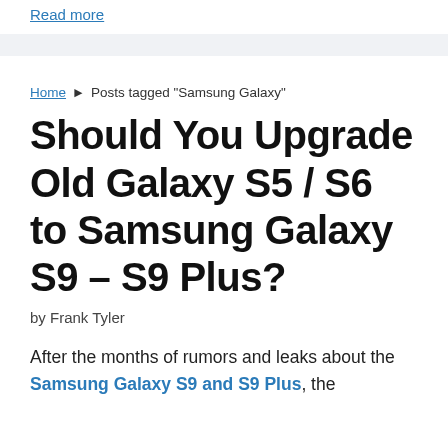Read more
Home ▶ Posts tagged "Samsung Galaxy"
Should You Upgrade Old Galaxy S5 / S6 to Samsung Galaxy S9 – S9 Plus?
by Frank Tyler
After the months of rumors and leaks about the Samsung Galaxy S9 and S9 Plus, the